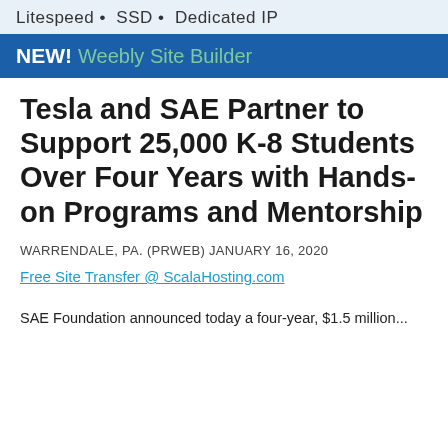[Figure (infographic): Web hosting advertisement banner: 'Litespeed • SSD • Dedicated IP' on light blue background, and 'NEW! Weebly Site Builder' on dark blue background]
Tesla and SAE Partner to Support 25,000 K-8 Students Over Four Years with Hands-on Programs and Mentorship
WARRENDALE, PA. (PRWEB) JANUARY 16, 2020
Free Site Transfer @ ScalaHosting.com
SAE Foundation announced today a four-year, $1.5 million...